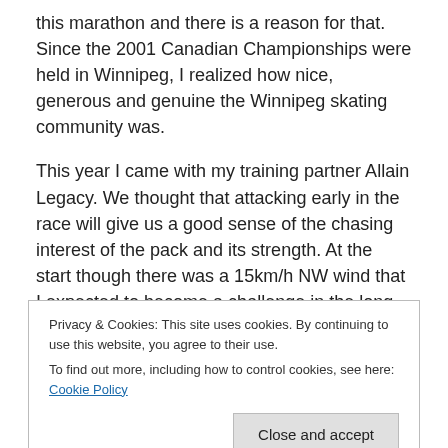this marathon and there is a reason for that. Since the 2001 Canadian Championships were held in Winnipeg, I realized how nice, generous and genuine the Winnipeg skating community was.
This year I came with my training partner Allain Legacy. We thought that attacking early in the race will give us a good sense of the chasing interest of the pack and its strength. At the start though there was a 15km/h NW wind that I expected to become a challenge in the long strait away before the finish line especially because we have to
Privacy & Cookies: This site uses cookies. By continuing to use this website, you agree to their use.
To find out more, including how to control cookies, see here: Cookie Policy
[Close and accept]
the wind. When the wind started to slow down the pack,